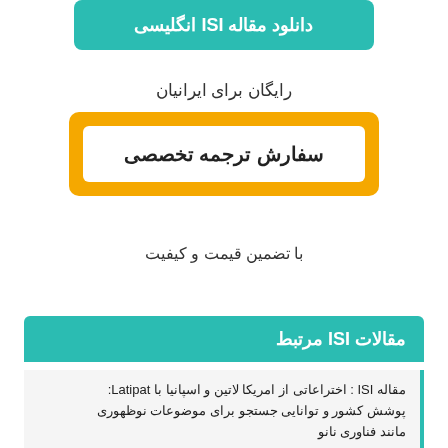[Figure (other): Teal button with text: دانلود مقاله ISI انگلیسی]
رایگان برای ایرانیان
[Figure (other): Yellow bordered button with inner white box containing text: سفارش ترجمه تخصصی]
با تضمین قیمت و کیفیت
مقالات ISI مرتبط
مقاله ISI : اختراعاتی از امریکا لاتین و اسپانیا با Latipat: پوشش کشور و توانایی جستجو برای موضوعات نوظهوری مانند فناوری نانو